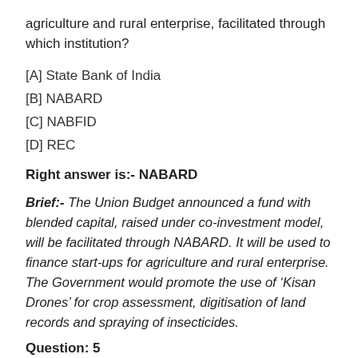agriculture and rural enterprise, facilitated through which institution?
[A] State Bank of India
[B] NABARD
[C] NABFID
[D] REC
Right answer is:- NABARD
Brief:- The Union Budget announced a fund with blended capital, raised under co-investment model, will be facilitated through NABARD. It will be used to finance start-ups for agriculture and rural enterprise. The Government would promote the use of ‘Kisan Drones’ for crop assessment, digitisation of land records and spraying of insecticides.
Question: 5